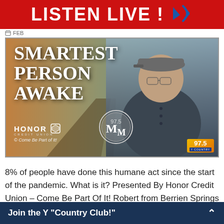[Figure (screenshot): Red LISTEN LIVE! banner with speaker icon at top of page]
[Figure (photo): Smartest Person Awake promotional image with man in gray cap and dark shirt, railroad tracks background, Honor Credit Union logo, 97.5 Y Country radio logo]
8% of people have done this humane act since the start of the pandemic. What is it? Presented By Honor Credit Union – Come Be Part Of It! Robert from Berrien Springs is the Smartest Person Awake!
Join the Y "Country Club!"